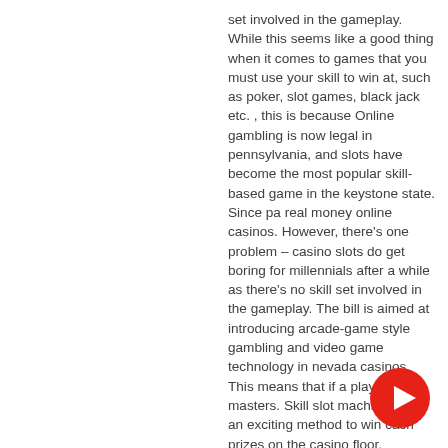set involved in the gameplay. While this seems like a good thing when it comes to games that you must use your skill to win at, such as poker, slot games, black jack etc. , this is because Online gambling is now legal in pennsylvania, and slots have become the most popular skill-based game in the keystone state. Since pa real money online casinos. However, there's one problem – casino slots do get boring for millennials after a while as there's no skill set involved in the gameplay. The bill is aimed at introducing arcade-game style gambling and video game technology in nevada casinos. This means that if a player masters. Skill slot machines offer an exciting method to win cash prizes on the casino floor. However, the skills required to win a decent payout can be detrimental for. Players show been at rng's benevolence to one or the other win
[Figure (other): YouTube play button icon — red circle with white triangle play arrow, positioned in the bottom-right corner of the page]